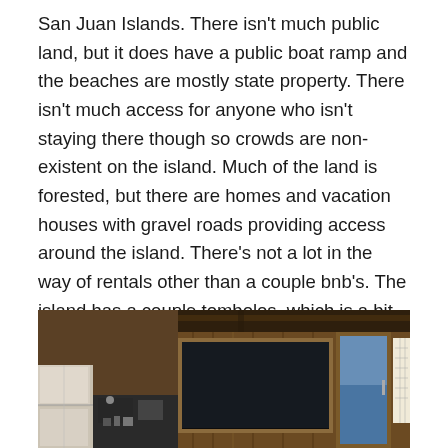San Juan Islands. There isn't much public land, but it does have a public boat ramp and the beaches are mostly state property. There isn't much access for anyone who isn't staying there though so crowds are non-existent on the island. Much of the land is forested, but there are homes and vacation houses with gravel roads providing access around the island. There's not a lot in the way of rentals other than a couple bnb's. The island has a couple tombolos, which is a bit of land that would be a separate island except for a connection through a sandbar or narrow strip of land.
[Figure (photo): Interior photo of a cabin or house with wood-paneled walls, a window with a view of water/sky (blue light coming through), a map on the right wall, kitchen appliances and counter visible on the left side.]